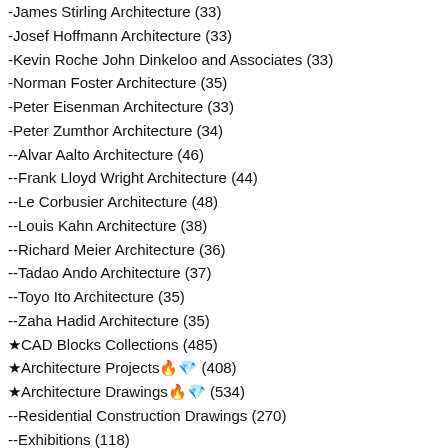-James Stirling Architecture (33)
-Josef Hoffmann Architecture (33)
-Kevin Roche John Dinkeloo and Associates (33)
-Norman Foster Architecture (35)
-Peter Eisenman Architecture (33)
-Peter Zumthor Architecture (34)
--Alvar Aalto Architecture (46)
--Frank Lloyd Wright Architecture (44)
--Le Corbusier Architecture (48)
--Louis Kahn Architecture (38)
--Richard Meier Architecture (36)
--Tadao Ando Architecture (37)
--Toyo Ito Architecture (35)
--Zaha Hadid Architecture (35)
★CAD Blocks Collections (485)
★Architecture Projects🔥💎 (408)
★Architecture Drawings🔥💎 (534)
--Residential Construction Drawings (270)
--Exhibitions (118)
★Photoshop PSD Blocks🔥💎 (224)
--PSD Children Equipment Blocks (104)